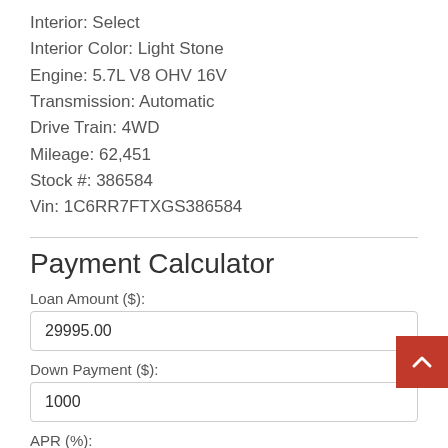Interior: Select
Interior Color: Light Stone
Engine: 5.7L V8 OHV 16V
Transmission: Automatic
Drive Train: 4WD
Mileage: 62,451
Stock #: 386584
Vin: 1C6RR7FTXGS386584
Payment Calculator
Loan Amount ($):
29995.00
Down Payment ($):
1000
APR (%):
4.95